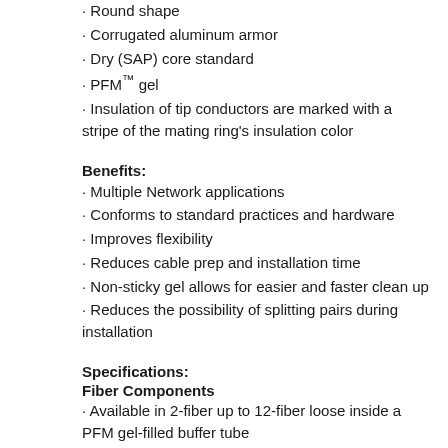Round shape
Corrugated aluminum armor
Dry (SAP) core standard
PFM™ gel
Insulation of tip conductors are marked with a stripe of the mating ring's insulation color
Benefits:
Multiple Network applications
Conforms to standard practices and hardware
Improves flexibility
Reduces cable prep and installation time
Non-sticky gel allows for easier and faster clean up
Reduces the possibility of splitting pairs during installation
Specifications:
Fiber Components
Available in 2-fiber up to 12-fiber loose inside a PFM gel-filled buffer tube
Copper Components
Available with 2, 3 or 6-pair 22 AWG solid annealed copper